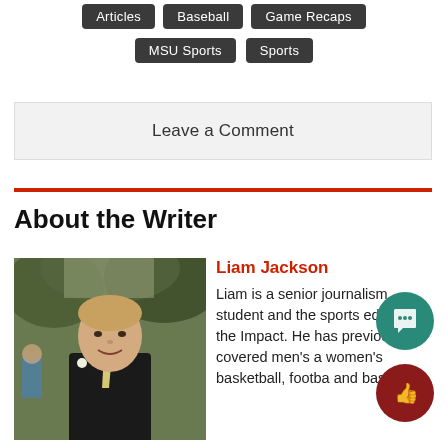Articles
Baseball
Game Recaps
MSU Sports
Sports
Leave a Comment
About the Writer
[Figure (photo): Headshot of writer Liam Jackson, a young man in a dark suit with a light tie, smiling outdoors]
Liam Jackson
Liam is a senior journalism student and the sports editor for the Impact. He has previously covered men's and women's basketball, football, and baseball.